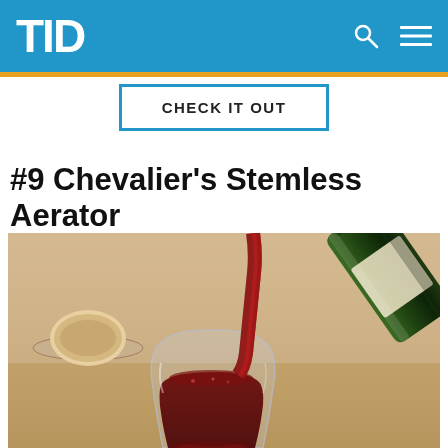TID
CHECK IT OUT
#9 Chevalier's Stemless Aerator
[Figure (photo): A green wine bottle pouring red wine into a stemless wine glass on a wooden table with bread in the background]